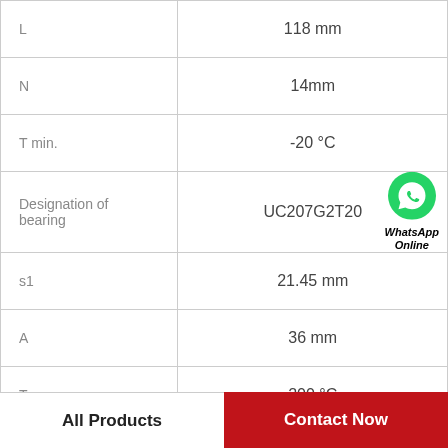| Parameter | Value |
| --- | --- |
| L | 118 mm |
| N | 14mm |
| T min. | -20 °C |
| Designation of bearing | UC207G2T20 |
| s1 | 21.45 mm |
| A | 36 mm |
| T max. | 200 °C |
|  |  |
All Products
Contact Now